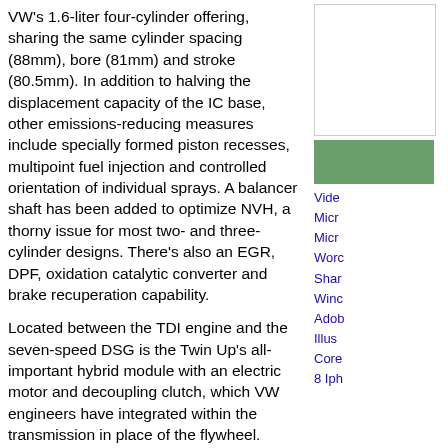VW's 1.6-liter four-cylinder offering, sharing the same cylinder spacing (88mm), bore (81mm) and stroke (80.5mm). In addition to halving the displacement capacity of the IC base, other emissions-reducing measures include specially formed piston recesses, multipoint fuel injection and controlled orientation of individual sprays. A balancer shaft has been added to optimize NVH, a thorny issue for most two- and three-cylinder designs. There's also an EGR, DPF, oxidation catalytic converter and brake recuperation capability.
Located between the TDI engine and the seven-speed DSG is the Twin Up's all-important hybrid module with an electric motor and decoupling clutch, which VW engineers have integrated within the transmission in place of the flywheel.
[Figure (photo): Small broken image icon in top-left of caption block]
Maximum speeds range from 87 mph in hybrid mode to 78 mph in electric mode. Acceleration is quite poor; it takes the Twin Up 15.7 seconds to get from 0 to 60mph.
Maximum speeds range from 87 mph in hybrid mode to 78 mph in electric mode. Acceleration is quite poor;